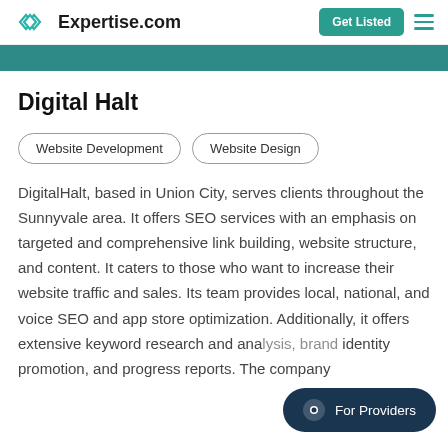Expertise.com | Get Listed
Digital Halt
Website Development
Website Design
DigitalHalt, based in Union City, serves clients throughout the Sunnyvale area. It offers SEO services with an emphasis on targeted and comprehensive link building, website structure, and content. It caters to those who want to increase their website traffic and sales. Its team provides local, national, and voice SEO and app store optimization. Additionally, it offers extensive keyword research and analysis, brand identity promotion, and progress reports. The company